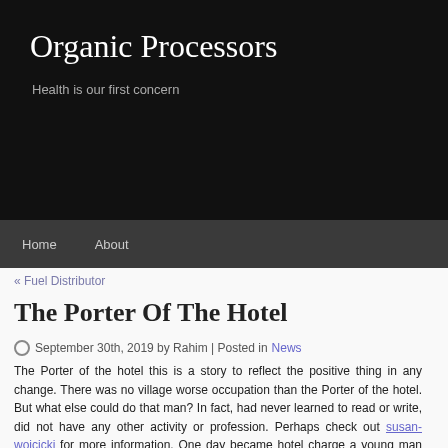Organic Processors
Health is our first concern
Home   About
« Fuel Distributor    Hollywood True »
The Porter Of The Hotel
September 30th, 2019 by Rahim | Posted in News
The Porter of the hotel this is a story to reflect the positive thing in any change. There was no village worse occupation than the Porter of the hotel. But what else could do that man? In fact, had never learned to read or write, did not have any other activity or profession. Perhaps check out susan-wojcicki for more information. One day became hotel charge a young man with concerns, creative and enterprising. The young man decided to modernise the business.
Archives
November
October 20
September
August 20
July 2019
June 2019
May 2019
April 2019
March 201
February 2
January 20
November
October 20
September
August 20
July 20